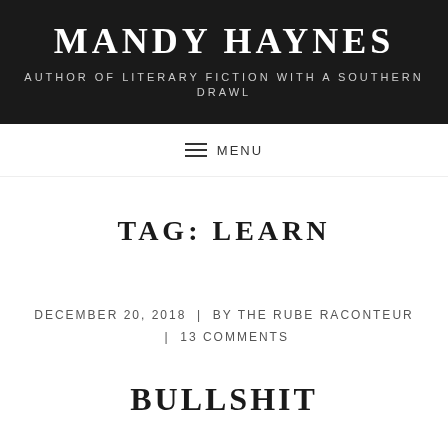MANDY HAYNES
AUTHOR OF LITERARY FICTION WITH A SOUTHERN DRAWL
≡ MENU
TAG: LEARN
DECEMBER 20, 2018 | BY THE RUBE RACONTEUR | 13 COMMENTS
BULLSHIT